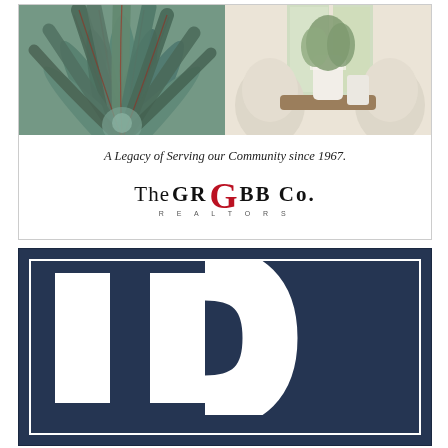[Figure (photo): Two-panel advertisement photo: left panel shows a close-up of a blue-green agave or succulent plant with pointed leaves; right panel shows a bright interior dining room scene with white chairs, a vase with greenery, and large windows.]
A Legacy of Serving our Community since 1967.
[Figure (logo): The GRUBB Co. Realtors logo: text reads 'The GRUBB Co.' with a large decorative red G in the center, and 'REALTORS' in small spaced capitals below.]
[Figure (logo): Dark navy blue advertisement panel with white inner border, showing partial large white letters 'ID' or similar LinkedIn/real-estate brand logo letters on a dark navy background.]